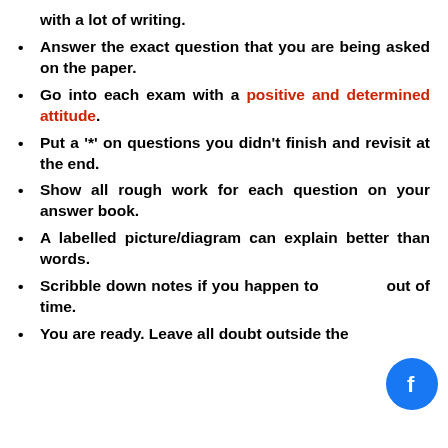with a lot of writing.
Answer the exact question that you are being asked on the paper.
Go into each exam with a positive and determined attitude.
Put a '*' on questions you didn't finish and revisit at the end.
Show all rough work for each question on your answer book.
A labelled picture/diagram can explain better than words.
Scribble down notes if you happen to run out of time.
You are ready. Leave all doubt outside the